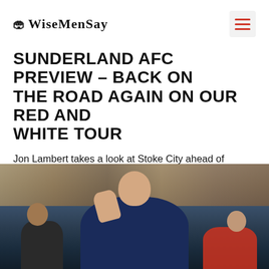WiseMenSay
SUNDERLAND AFC PREVIEW – BACK ON THE ROAD AGAIN ON OUR RED AND WHITE TOUR
Jon Lambert takes a look at Stoke City ahead of Sunderland's trip down to Staffordshire this weekend
JONNY LAMBERT   AUGUST 19, 2022
[Figure (photo): A man in a navy jacket raising his hand on a football touchline, surrounded by a blurred crowd in the background]